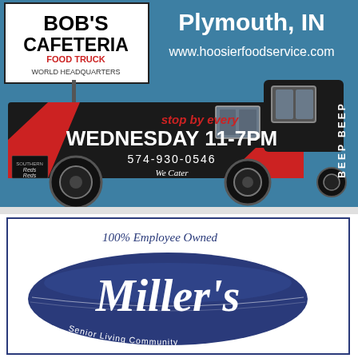[Figure (illustration): Bob's Cafeteria Food Truck advertisement with a black food truck illustration. Top section shows logo with 'BOB'S CAFETERIA FOOD TRUCK WORLD HEADQUARTERS' on left and 'Plymouth, IN www.hoosierfoodservice.com' on teal/blue background on right. Truck graphic shows 'stop by every WEDNESDAY 11-7PM 574-930-0546 We Cater' with 'BEEP BEEP' text on right side.]
[Figure (logo): Miller's Senior Living Community logo. Blue oval with white script text 'Miller's' and tagline 'Senior Living Community' along bottom curve. '100% Employee Owned' text above oval in blue script.]